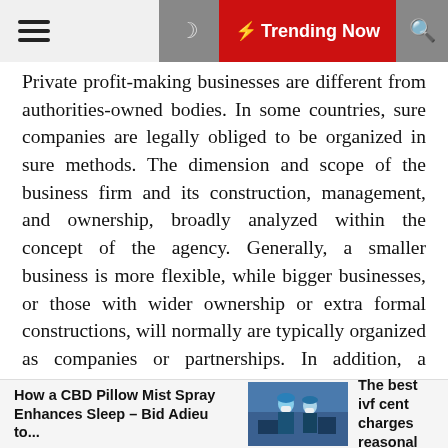☰  ☽  ⚡ Trending Now  🔍
Private profit-making businesses are different from authorities-owned bodies. In some countries, sure companies are legally obliged to be organized in sure methods. The dimension and scope of the business firm and its construction, management, and ownership, broadly analyzed within the concept of the agency. Generally, a smaller business is more flexible, while bigger businesses, or those with wider ownership or extra formal constructions, will normally are typically organized as companies or partnerships. In addition, a business that needs to boost money on a inventory market or to be owned by a variety of individuals will typically be required to undertake a selected authorized kind to take action. In current many years, states modeled some of their property and enterprises after business enterprises.
How a CBD Pillow Mist Spray Enhances Sleep – Bid Adieu to...   [image]   The best ivf cent charges reasonal